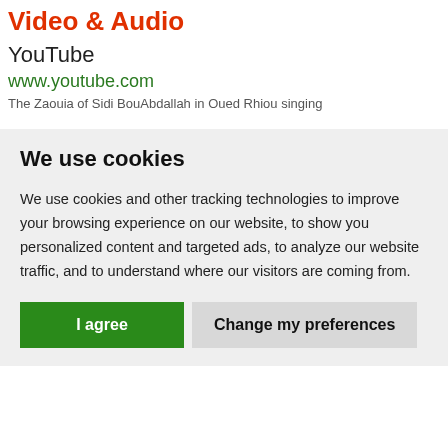Video & Audio
YouTube
www.youtube.com
The Zaouia of Sidi BouAbdallah in Oued Rhiou singing
We use cookies
We use cookies and other tracking technologies to improve your browsing experience on our website, to show you personalized content and targeted ads, to analyze our website traffic, and to understand where our visitors are coming from.
I agree | Change my preferences